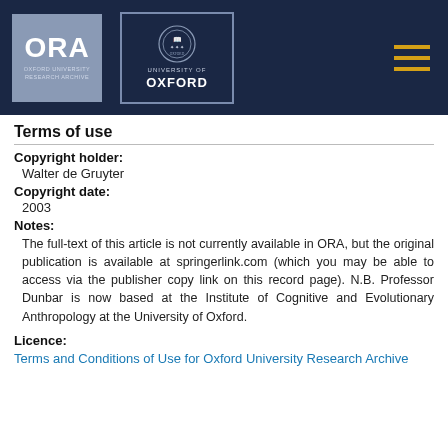[Figure (logo): Oxford University Research Archive (ORA) and University of Oxford logos on dark navy header bar with hamburger menu icon]
Terms of use
Copyright holder:
Walter de Gruyter
Copyright date:
2003
Notes:
The full-text of this article is not currently available in ORA, but the original publication is available at springerlink.com (which you may be able to access via the publisher copy link on this record page). N.B. Professor Dunbar is now based at the Institute of Cognitive and Evolutionary Anthropology at the University of Oxford.
Licence:
Terms and Conditions of Use for Oxford University Research Archive